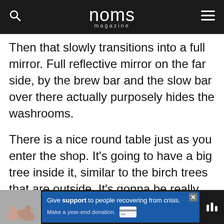noms magazine
Then that slowly transitions into a full mirror. Full reflective mirror on the far side, by the brew bar and the slow bar over there actually purposely hides the washrooms.
There is a nice round table just as you enter the shop. It’s going to have a big tree inside it, similar to the birch trees that are outside. It’s gonna be really tall, nine-foot-tall by seven-foot wide. So big long branches coming over the top and just really bring in like the outside inside.
[Figure (infographic): Advertisement bar at bottom: hands photo on left, blue box with 'Give support to people recovering from crisis. Make a year-end donation.' text and close button, dark icon on right.]